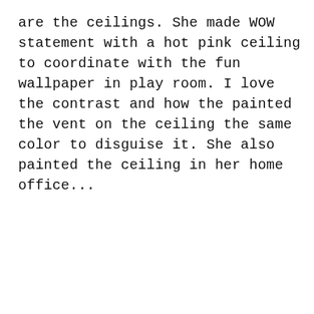are the ceilings. She made WOW statement with a hot pink ceiling to coordinate with the fun wallpaper in play room. I love the contrast and how the painted the vent on the ceiling the same color to disguise it. She also painted the ceiling in her home office...